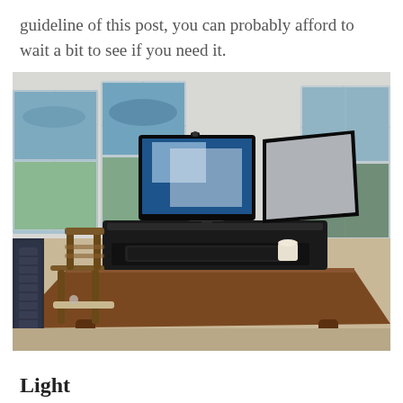guideline of this post, you can probably afford to wait a bit to see if you need it.
[Figure (photo): A standing desk converter with dual monitors placed on a large wooden desk in a bright sunroom with multiple windows overlooking trees and water. A wooden chair sits to the left, and a tower fan is visible on the far left.]
Light